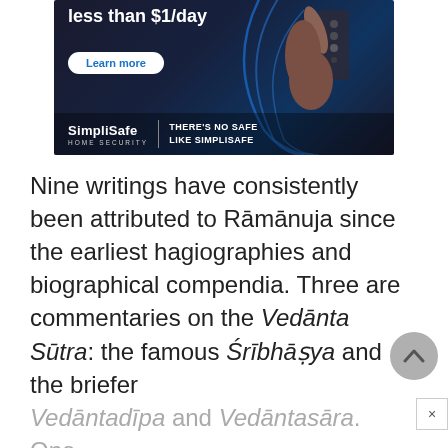[Figure (photo): SimpliSafe advertisement banner showing a hand pressing a security keypad with text 'less than $1/day', 'Learn more' button, and tagline 'THERE'S NO SAFE LIKE SIMPLISAFE']
Nine writings have consistently been attributed to Rāmānuja since the earliest hagiographies and biographical compendia. Three are commentaries on the Vedānta Sūtra: the famous Śrībhāṣya and the briefer Vedāntadīpa and Vedāntasāra. One, perhaps his earliest work, is an